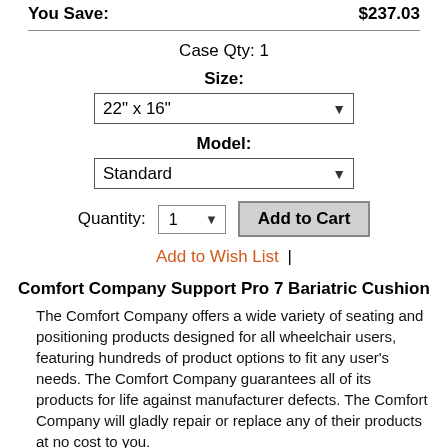You Save:   $237.03
Case Qty: 1
Size:
22" x 16"
Model:
Standard
Quantity: 1   Add to Cart
Add to Wish List  |
Comfort Company Support Pro 7 Bariatric Cushion
The Comfort Company offers a wide variety of seating and positioning products designed for all wheelchair users, featuring hundreds of product options to fit any user's needs. The Comfort Company guarantees all of its products for life against manufacturer defects. The Comfort Company will gladly repair or replace any of their products at no cost to you.
The Support Pro 7 Bariatric Cushion features 2 layers of high resiliency foam that provides increased comfort while decreasing the probability of pressure sores and ulcers. The non-contoured seating surface of the Support Pro 7 Bariatric Cushion allows for easy user